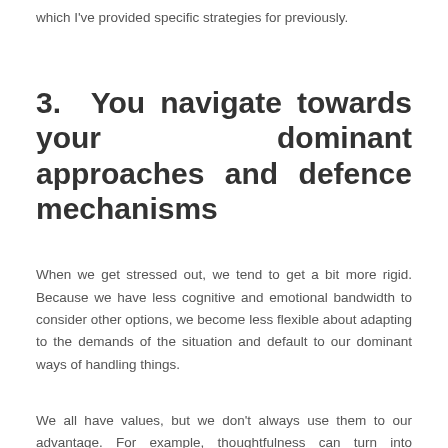which I've provided specific strategies for previously.
3. You navigate towards your dominant approaches and defence mechanisms
When we get stressed out, we tend to get a bit more rigid. Because we have less cognitive and emotional bandwidth to consider other options, we become less flexible about adapting to the demands of the situation and default to our dominant ways of handling things.
We all have values, but we don't always use them to our advantage. For example, thoughtfulness can turn into overthinking, self-reliance can morph into micromanaging or doing everything yourself, having high standards can